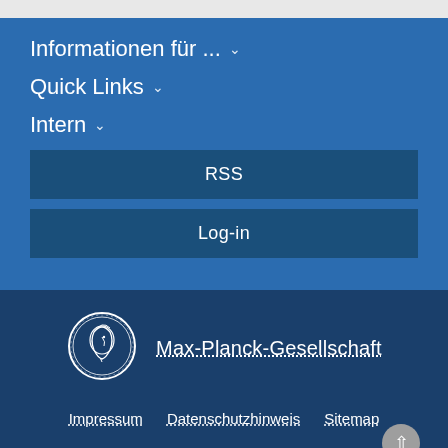Informationen für ...
Quick Links
Intern
RSS
Log-in
[Figure (logo): Max-Planck-Gesellschaft coin/medallion logo with figure profile]
Max-Planck-Gesellschaft
Impressum   Datenschutzhinweis   Sitemap
© 2022, Max-Planck-Gesellschaft